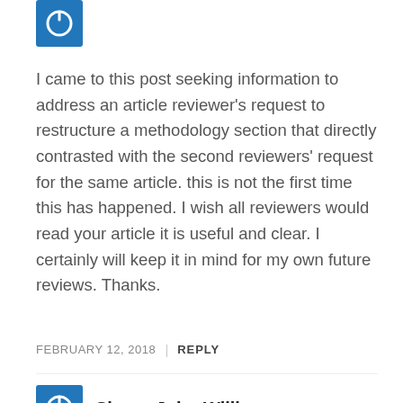[Figure (illustration): Blue square avatar icon with white power/circle symbol, partially visible at top]
I came to this post seeking information to address an article reviewer's request to restructure a methodology section that directly contrasted with the second reviewers' request for the same article. this is not the first time this has happened. I wish all reviewers would read your article it is useful and clear. I certainly will keep it in mind for my own future reviews. Thanks.
FEBRUARY 12, 2018 | REPLY
[Figure (illustration): Blue square avatar icon with white power/circle symbol for Simon John Williams]
Simon John Williams
Hi, thanks for the information. I have a question that maybe you or someone can help me with. If symbolic interactionism is influenced by